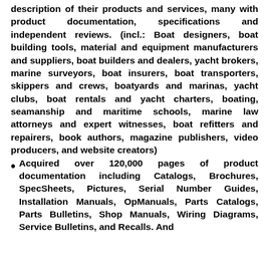description of their products and services, many with product documentation, specifications and independent reviews. (incl.: Boat designers, boat building tools, material and equipment manufacturers and suppliers, boat builders and dealers, yacht brokers, marine surveyors, boat insurers, boat transporters, skippers and crews, boatyards and marinas, yacht clubs, boat rentals and yacht charters, boating, seamanship and maritime schools, marine law attorneys and expert witnesses, boat refitters and repairers, book authors, magazine publishers, video producers, and website creators)
Acquired over 120,000 pages of product documentation including Catalogs, Brochures, SpecSheets, Pictures, Serial Number Guides, Installation Manuals, OpManuals, Parts Catalogs, Parts Bulletins, Shop Manuals, Wiring Diagrams, Service Bulletins, and Recalls. And